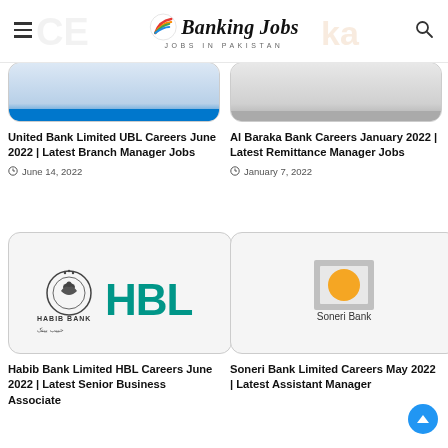Banking Jobs — Jobs in Pakistan
[Figure (logo): Banking Jobs logo with stylized pen/quill and text 'Banking Jobs — Jobs in Pakistan']
[Figure (photo): Partial card image for United Bank Limited UBL — blue bar at bottom]
United Bank Limited UBL Careers June 2022 | Latest Branch Manager Jobs
June 14, 2022
[Figure (photo): Partial card image for Al Baraka Bank — gray bar at bottom]
Al Baraka Bank Careers January 2022 | Latest Remittance Manager Jobs
January 7, 2022
[Figure (logo): Habib Bank HBL logo — HABIB BANK with Urdu text and HBL in teal letters]
Habib Bank Limited HBL Careers June 2022 | Latest Senior Business Associate
[Figure (logo): Soneri Bank logo — golden circle in silver square frame with 'Soneri Bank' text]
Soneri Bank Limited Careers May 2022 | Latest Assistant Manager